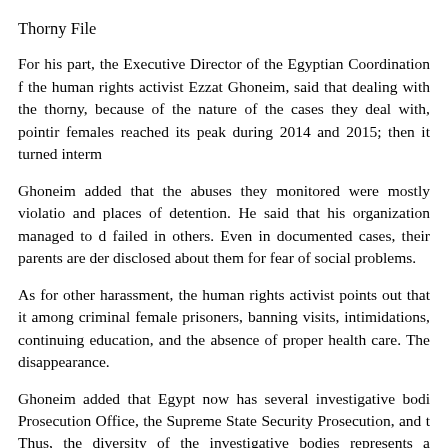Thorny File
For his part, the Executive Director of the Egyptian Coordination f the human rights activist Ezzat Ghoneim, said that dealing with the thorny, because of the nature of the cases they deal with, pointir females reached its peak during 2014 and 2015; then it turned interm
Ghoneim added that the abuses they monitored were mostly violatio and places of detention. He said that his organization managed to d failed in others. Even in documented cases, their parents are der disclosed about them for fear of social problems.
As for other harassment, the human rights activist points out that it among criminal female prisoners, banning visits, intimidations, continuing education, and the absence of proper health care. The disappearance.
Ghoneim added that Egypt now has several investigative bodi Prosecution Office, the Supreme State Security Prosecution, and t Thus, the diversity of the investigative bodies represents a documentation, but this does not mean that these figures are no documented based on reports by women detainee families, prosecuti and the arrest orders.